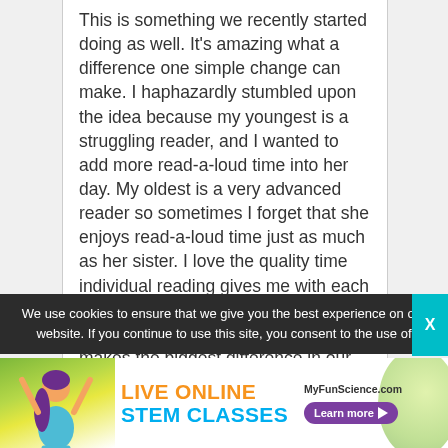This is something we recently started doing as well. It's amazing what a difference one simple change can make. I haphazardly stumbled upon the idea because my youngest is a struggling reader, and I wanted to add more read-a-loud time into her day. My oldest is a very advanced reader so sometimes I forget that she enjoys read-a-loud time just as much as her sister. I love the quality time individual reading gives me with each of my girls. Excellent post, sometimes it's the smallest thing that makes the biggest difference in our day.
We use cookies to ensure that we give you the best experience on our website. If you continue to use this site, you consent to the use of
[Figure (illustration): Advertisement banner for MyFunScience.com featuring LIVE ONLINE STEM CLASSES with a cartoon girl figure, colorful background, and a Learn more button.]